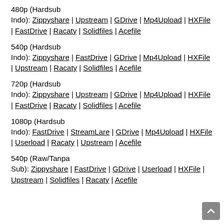480p (Hardsub Indo): Zippyshare | Upstream | GDrive | Mp4Upload | HXFile | FastDrive | Racaty | Solidfiles | Acefile
540p (Hardsub Indo): Zippyshare | FastDrive | GDrive | Mp4Upload | HXFile | Upstream | Racaty | Solidfiles | Acefile
720p (Hardsub Indo): Zippyshare | Upstream | GDrive | Mp4Upload | HXFile | FastDrive | Racaty | Solidfiles | Acefile
1080p (Hardsub Indo): FastDrive | StreamLare | GDrive | Mp4Upload | HXFile | Userload | Racaty | Upstream | Acefile
540p (Raw/Tanpa Sub): Zippyshare | FastDrive | GDrive | Userload | HXFile | Upstream | Solidfiles | Racaty | Acefile